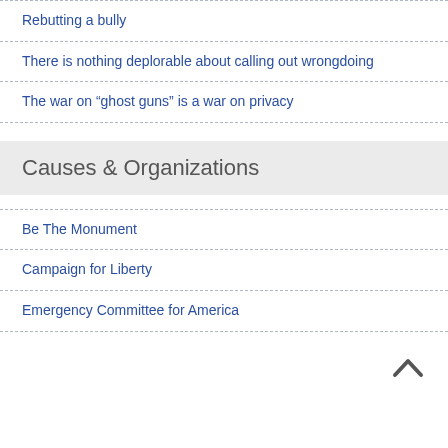Rebutting a bully
There is nothing deplorable about calling out wrongdoing
The war on “ghost guns” is a war on privacy
Causes & Organizations
Be The Monument
Campaign for Liberty
Emergency Committee for America